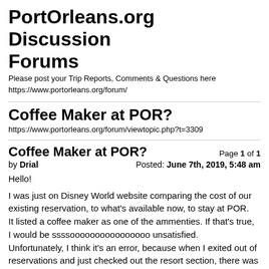PortOrleans.org Discussion Forums
Please post your Trip Reports, Comments & Questions here
https://www.portorleans.org/forum/
Coffee Maker at POR?
https://www.portorleans.org/forum/viewtopic.php?t=3309
Coffee Maker at POR?
Page 1 of 1
by Drial
Posted: June 7th, 2019, 5:48 am
Hello!

I was just on Disney World website comparing the cost of our existing reservation, to what's available now, to stay at POR.
It listed a coffee maker as one of the ammenties. If that's true,
I would be ssssoooooooooooooooo unsatisfied.
Unfortunately, I think it's an error, because when I exited out of reservations and just checked out the resort section, there was no "coffee maker" listed.

Can anyone confirm a coffee maker in room at POR?